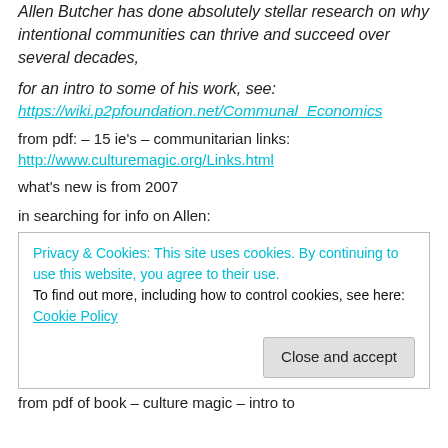Allen Butcher has done absolutely stellar research on why intentional communities can thrive and succeed over several decades,
for an intro to some of his work, see:
https://wiki.p2pfoundation.net/Communal_Economics
from pdf: – 15 ie's – communitarian links:
http://www.culturemagic.org/Links.html
what's new is from 2007
in searching for info on Allen:
Privacy & Cookies: This site uses cookies. By continuing to use this website, you agree to their use.
To find out more, including how to control cookies, see here: Cookie Policy
Close and accept
from pdf of book – culture magic – intro to